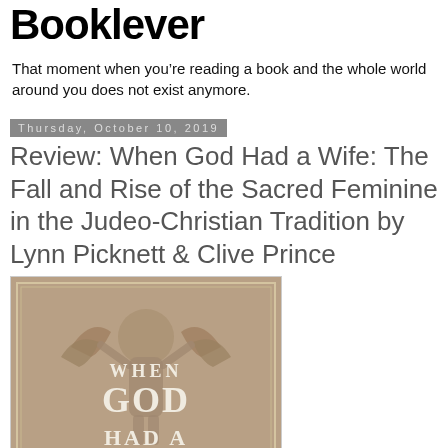Booklever
That moment when you're reading a book and the whole world around you does not exist anymore.
Thursday, October 10, 2019
Review: When God Had a Wife: The Fall and Rise of the Sacred Feminine in the Judeo-Christian Tradition by Lynn Picknett & Clive Prince
[Figure (photo): Book cover of 'When God Had a Wife' showing stone relief sculpture of a winged female figure with the title text in white serif font]